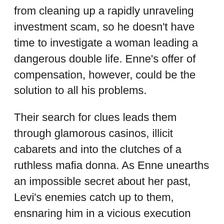from cleaning up a rapidly unraveling investment scam, so he doesn't have time to investigate a woman leading a dangerous double life. Enne's offer of compensation, however, could be the solution to all his problems.
Their search for clues leads them through glamorous casinos, illicit cabarets and into the clutches of a ruthless mafia donna. As Enne unearths an impossible secret about her past, Levi's enemies catch up to them, ensnaring him in a vicious execution game where the players always lose. To save him, Enne will need to surrender herself to the city...
And she'll need to play.